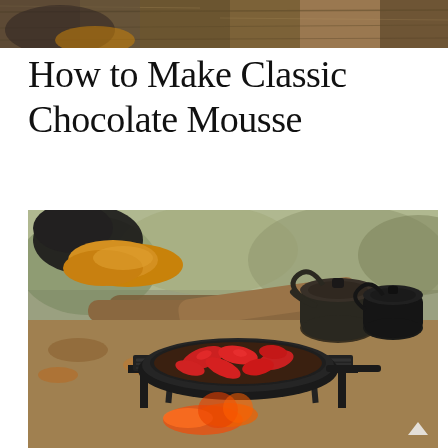[Figure (photo): Top strip of a photo showing a wooden surface or outdoor scene, partially cropped at the top of the page.]
How to Make Classic Chocolate Mousse
[Figure (photo): Outdoor campfire cooking scene: a gloved hand (black and yellow work gloves) holds a handle over a cast iron pan on a camp grill containing red food (strawberries or sausages). Two dark kettles sit behind the pan on the grill rack. Logs and autumn leaves surround the setup with fire visible beneath the grill. A small up-arrow chevron icon is overlaid in the lower right of the image.]